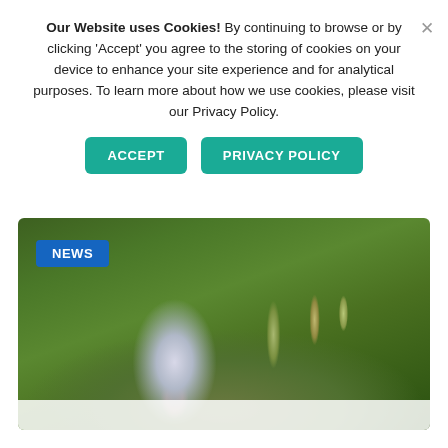Our Website uses Cookies! By continuing to browse or by clicking 'Accept' you agree to the storing of cookies on your device to enhance your site experience and for analytical purposes. To learn more about how we use cookies, please visit our Privacy Policy.
[Figure (screenshot): Two buttons: ACCEPT (teal) and PRIVACY POLICY (teal) in a cookie consent banner]
[Figure (photo): A white butterfly perched on dried grass/wheat stalks against a blurred green meadow background, with a blue NEWS label badge in the top-left corner]